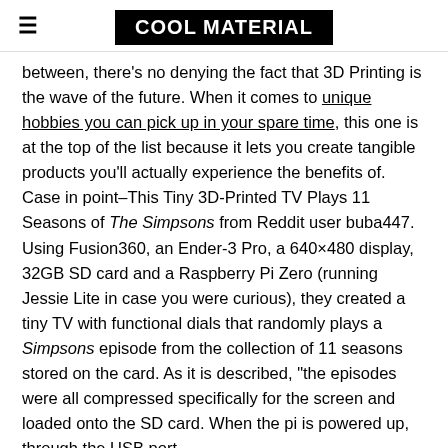COOL MATERIAL
between, there’s no denying the fact that 3D Printing is the wave of the future. When it comes to unique hobbies you can pick up in your spare time, this one is at the top of the list because it lets you create tangible products you’ll actually experience the benefits of. Case in point–This Tiny 3D-Printed TV Plays 11 Seasons of The Simpsons from Reddit user buba447. Using Fusion360, an Ender-3 Pro, a 640×480 display, 32GB SD card and a Raspberry Pi Zero (running Jessie Lite in case you were curious), they created a tiny TV with functional dials that randomly plays a Simpsons episode from the collection of 11 seasons stored on the card. As it is described, “the episodes were all compressed specifically for the screen and loaded onto the SD card. When the pi is powered up, through the USB port